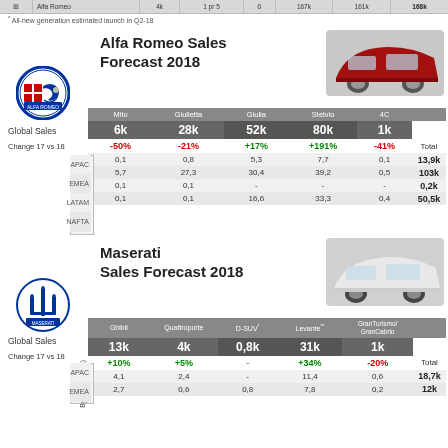|  |
* All-new generation estimated launch in Q2-18
Alfa Romeo Sales Forecast 2018
[Figure (photo): Red Alfa Romeo Stelvio SUV]
[Figure (logo): Alfa Romeo logo]
|  | Mito | Giulietta | Giulia | Stelvio | 4C |  |
| --- | --- | --- | --- | --- | --- | --- |
| Global Sales | 6k | 28k | 52k | 80k | 1k |  |
| Change 17 vs 18 | -50% | -21% | +17% | +191% | -41% | Total |
| APAC | 0,1 | 0,8 | 5,3 | 7,7 | 0,1 | 13,9k |
| EMEA | 5,7 | 27,3 | 30,4 | 39,2 | 0,5 | 103k |
| LATAM | 0,1 | 0,1 | - | - | - | 0,2k |
| NAFTA | 0,1 | 0,1 | 16,6 | 33,3 | 0,4 | 50,5k |
Maserati Sales Forecast 2018
[Figure (photo): White Maserati Levante SUV]
[Figure (logo): Maserati logo]
|  | Ghibli | Quattroporte | D-SUV* | Levante** | GranTurismo/GranCabrio |  |
| --- | --- | --- | --- | --- | --- | --- |
| Global Sales | 13k | 4k | 0,8k | 31k | 1k |  |
| Change 17 vs 18 | +10% | +5% | - | +34% | -20% | Total |
| APAC | 4,1 | 2,4 | - | 11,4 | 0,6 | 18,7k |
| EMEA | 2,7 | 0,6 | 0,8 | 7,8 | 0,2 | 12k |